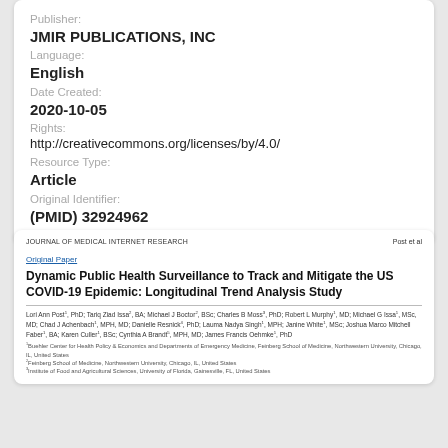Publisher:
JMIR PUBLICATIONS, INC
Language:
English
Date Created:
2020-10-05
Rights:
http://creativecommons.org/licenses/by/4.0/
Resource Type:
Article
Original Identifier:
(PMID) 32924962
[Figure (screenshot): Preview of journal article: 'Dynamic Public Health Surveillance to Track and Mitigate the US COVID-19 Epidemic: Longitudinal Trend Analysis Study' from Journal of Medical Internet Research, by Lori Ann Post, Tariq Ziad Issa, Michael J Boctor, Charles B Moss, Robert L Murphy, Michael G Issa, Chad J Achenbach, Danielle Resnick, Lauma Nadya Singh, Janine White, Joshua Marco Mitchell Faber, Karen Culler, Cynthia A Brandt, James Francis Oehmke.]